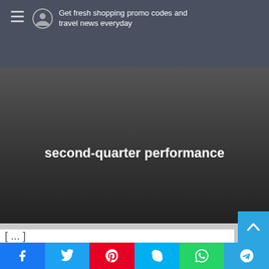Get fresh shopping promo codes and travel news everyday
second-quarter performance
[Figure (screenshot): A light gray image slider area with a circular back navigation button (left chevron) in the center]
Share buttons: Facebook, Twitter, Pinterest, Skype, WhatsApp, Telegram